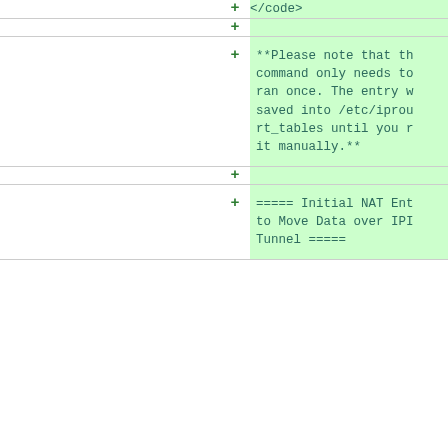| left | plus | right |
| --- | --- | --- |
|  | + | </code> |
|  | + |  |
|  | + | **Please note that th
command only needs to
ran once. The entry w
saved into /etc/iprou
rt_tables until you r
it manually.** |
|  | + |  |
|  | + | ===== Initial NAT Ent
to Move Data over IPI
Tunnel ===== |